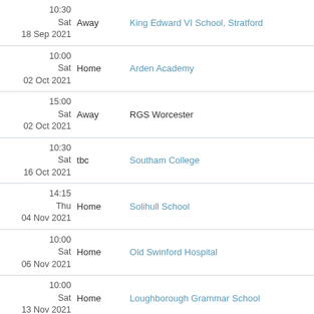| Date/Time | Venue | Opponent |
| --- | --- | --- |
| 10:30
Sat
18 Sep 2021 | Away | King Edward VI School, Stratford |
| 10:00
Sat
02 Oct 2021 | Home | Arden Academy |
| 15:00
Sat
02 Oct 2021 | Away | RGS Worcester |
| 10:30
Sat
16 Oct 2021 | tbc | Southam College |
| 14:15
Thu
04 Nov 2021 | Home | Solihull School |
| 10:00
Sat
06 Nov 2021 | Home | Old Swinford Hospital |
| 10:00
Sat
13 Nov 2021 | Home | Loughborough Grammar School |
| 14:30
Thu
18 Nov 2021 | Home | King Edward VI Aston Sports College |